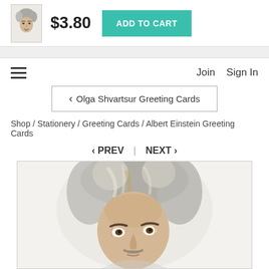[Figure (screenshot): E-commerce product page header showing a thumbnail of an Einstein watercolor portrait, price $3.80, and an Add to Cart button in teal]
$3.80
ADD TO CART
Join   Sign In
‹ Olga Shvartsur Greeting Cards
Shop / Stationery / Greeting Cards / Albert Einstein Greeting Cards
‹ PREV  |  NEXT ›
[Figure (illustration): Watercolor portrait painting of Albert Einstein, showing his face and wild gray hair, looking slightly to the side with expressive eyes]